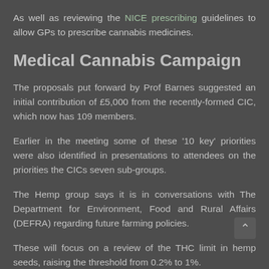As well as reviewing the NICE prescribing guidelines to allow GPs to prescribe cannabis medicines.
Medical Cannabis Campaign
The proposals put forward by Prof Barnes suggested an initial contribution of £5,000 from the recently-formed CIC, which now has 109 members.
Earlier in the meeting some of these '10 key' priorities were also identified in presentations to attendees on the priorities the CICs seven sub-groups.
The Hemp group says it is in conversations with The Department for Environment, Food and Rural Affairs (DEFRA) regarding future farming policies.
These will focus on a review of the THC limit in hemp seeds, raising the threshold from 0.2% to 1%.